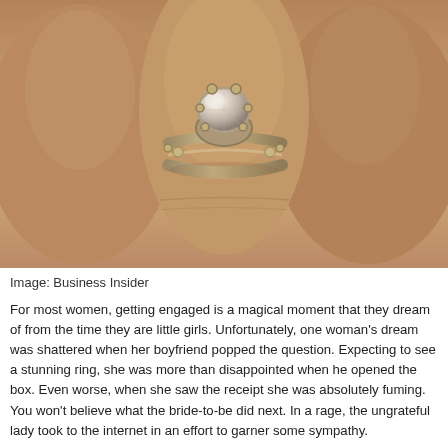[Figure (photo): Close-up photo of a hand wearing a diamond engagement ring with ornate band, sepia/warm toned, credited to Business Insider]
Image: Business Insider
For most women, getting engaged is a magical moment that they dream of from the time they are little girls. Unfortunately, one woman's dream was shattered when her boyfriend popped the question. Expecting to see a stunning ring, she was more than disappointed when he opened the box. Even worse, when she saw the receipt she was absolutely fuming. You won't believe what the bride-to-be did next. In a rage, the ungrateful lady took to the internet in an effort to garner some sympathy.